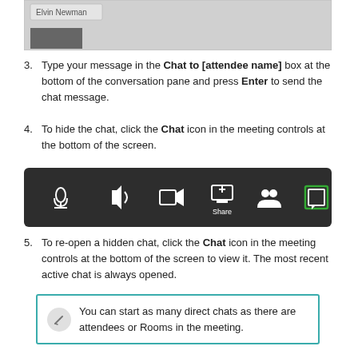[Figure (screenshot): Screenshot showing a video call interface with a name tag 'Elvin Newman' and a photo thumbnail]
3. Type your message in the Chat to [attendee name] box at the bottom of the conversation pane and press Enter to send the chat message.
4. To hide the chat, click the Chat icon in the meeting controls at the bottom of the screen.
[Figure (screenshot): Meeting controls toolbar showing icons for microphone, volume, camera, share screen, participants, chat (highlighted with green border), and notes]
5. To re-open a hidden chat, click the Chat icon in the meeting controls at the bottom of the screen to view it. The most recent active chat is always opened.
You can start as many direct chats as there are attendees or Rooms in the meeting.